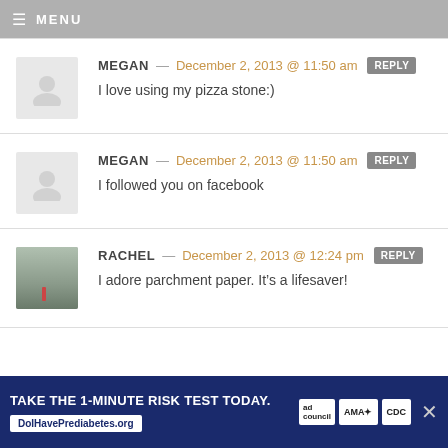≡ MENU
MEGAN — December 2, 2013 @ 11:50 am  REPLY
I love using my pizza stone:)
MEGAN — December 2, 2013 @ 11:50 am  REPLY
I followed you on facebook
RACHEL — December 2, 2013 @ 12:24 pm  REPLY
I adore parchment paper. It's a lifesaver!
TAKE THE 1-MINUTE RISK TEST TODAY. DoIHavePrediabetes.org  ad council  AMA  CDC